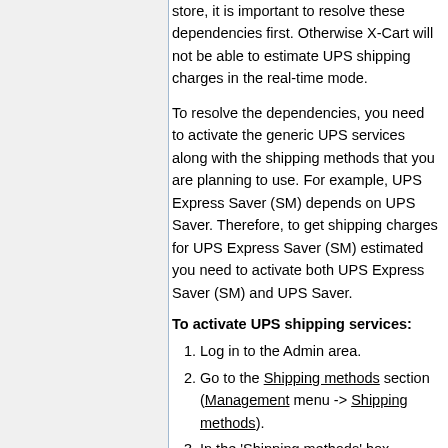store, it is important to resolve these dependencies first. Otherwise X-Cart will not be able to estimate UPS shipping charges in the real-time mode.
To resolve the dependencies, you need to activate the generic UPS services along with the shipping methods that you are planning to use. For example, UPS Express Saver (SM) depends on UPS Saver. Therefore, to get shipping charges for UPS Express Saver (SM) estimated you need to activate both UPS Express Saver (SM) and UPS Saver.
To activate UPS shipping services:
Log in to the Admin area.
Go to the Shipping methods section (Management menu -> Shipping methods).
In the 'Shipping methods' box, click the UPS link...